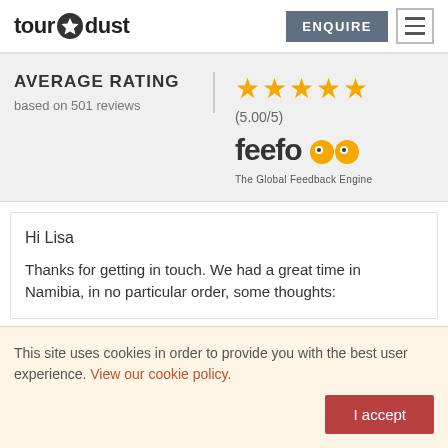[Figure (logo): tour dust logo with star icon]
AVERAGE RATING
based on 501 reviews
[Figure (infographic): 5 gold stars rating display showing (5.00/5) with Feefo - The Global Feedback Engine logo]
Hi Lisa
Thanks for getting in touch. We had a great time in Namibia, in no particular order, some thoughts:
This site uses cookies in order to provide you with the best user experience. View our cookie policy.